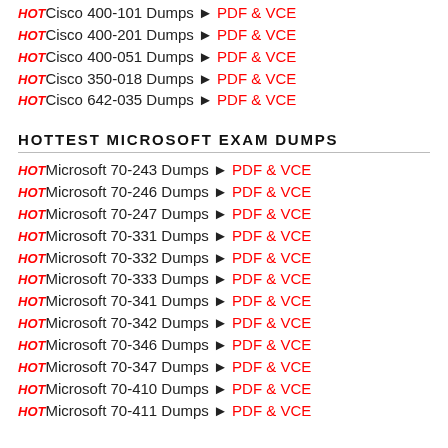HOT Cisco 400-101 Dumps ► PDF & VCE
HOT Cisco 400-201 Dumps ► PDF & VCE
HOT Cisco 400-051 Dumps ► PDF & VCE
HOT Cisco 350-018 Dumps ► PDF & VCE
HOT Cisco 642-035 Dumps ► PDF & VCE
HOTTEST MICROSOFT EXAM DUMPS
HOT Microsoft 70-243 Dumps ► PDF & VCE
HOT Microsoft 70-246 Dumps ► PDF & VCE
HOT Microsoft 70-247 Dumps ► PDF & VCE
HOT Microsoft 70-331 Dumps ► PDF & VCE
HOT Microsoft 70-332 Dumps ► PDF & VCE
HOT Microsoft 70-333 Dumps ► PDF & VCE
HOT Microsoft 70-341 Dumps ► PDF & VCE
HOT Microsoft 70-342 Dumps ► PDF & VCE
HOT Microsoft 70-346 Dumps ► PDF & VCE
HOT Microsoft 70-347 Dumps ► PDF & VCE
HOT Microsoft 70-410 Dumps ► PDF & VCE
HOT Microsoft 70-411 Dumps ► PDF & VCE